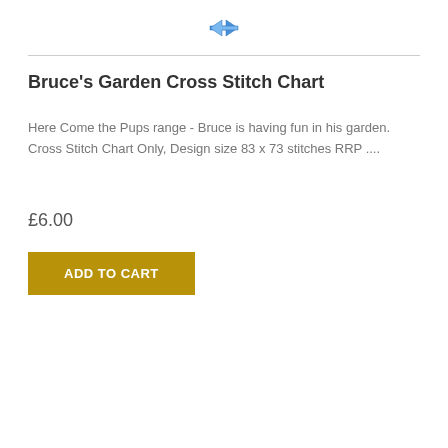[Figure (logo): Blue double-headed arrow icon (refresh/compare symbol)]
Bruce's Garden Cross Stitch Chart
Here Come the Pups range - Bruce is having fun in his garden. Cross Stitch Chart Only, Design size 83 x 73 stitches RRP ....
£6.00
ADD TO CART